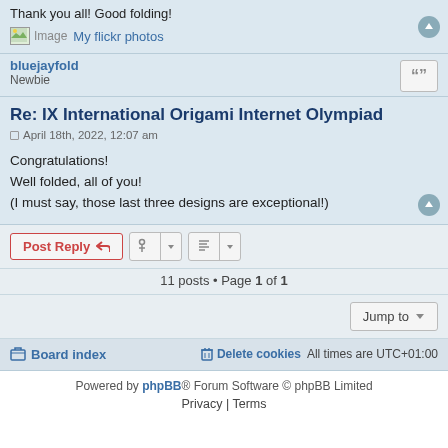Thank you all! Good folding!
[Image] My flickr photos
bluejayfold
Newbie
Re: IX International Origami Internet Olympiad
April 18th, 2022, 12:07 am
Congratulations!
Well folded, all of you!
(I must say, those last three designs are exceptional!)
Post Reply | Tools | Sort posts
11 posts • Page 1 of 1
Jump to
Board index | Delete cookies | All times are UTC+01:00
Powered by phpBB® Forum Software © phpBB Limited
Privacy | Terms